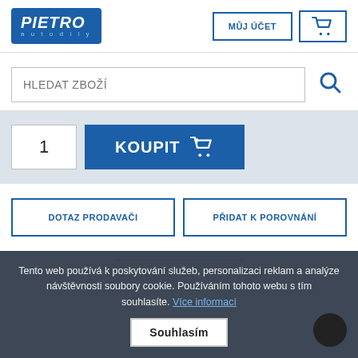[Figure (logo): PIETRO autodíly logo - blue box with white italic bold text PIETRO and small text autodíly]
MŮJ ÚČET
[Figure (illustration): Shopping cart icon in blue]
HLEDAT ZBOŽÍ
1
KOUPIT
DOTAZ PRODAVAČI
PŘIDAT K POROVNÁNÍ
POPIS ZBOŽÍ
Tento web používá k poskytování služeb, personalizaci reklam a analýze návštěvnosti soubory cookie. Používáním tohoto webu s tím souhlasíte. Více informací
Souhlasím